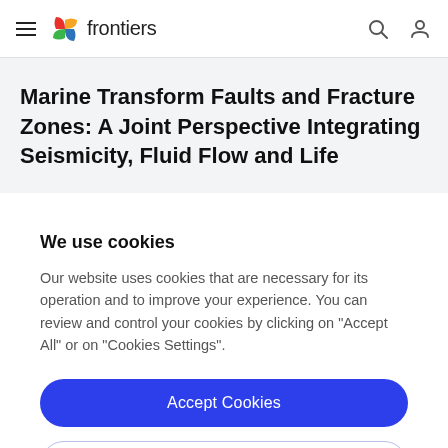frontiers
Marine Transform Faults and Fracture Zones: A Joint Perspective Integrating Seismicity, Fluid Flow and Life
We use cookies
Our website uses cookies that are necessary for its operation and to improve your experience. You can review and control your cookies by clicking on "Accept All" or on "Cookies Settings".
Accept Cookies
Cookies Settings